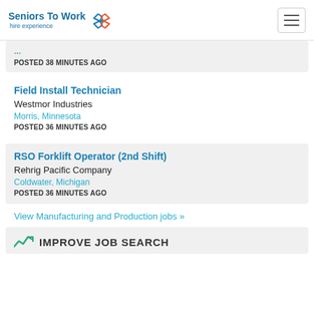Seniors To Work — hire experience
POSTED 38 MINUTES AGO
Field Install Technician
Westmor Industries
Morris, Minnesota
POSTED 36 MINUTES AGO
RSO Forklift Operator (2nd Shift)
Rehrig Pacific Company
Coldwater, Michigan
POSTED 36 MINUTES AGO
View Manufacturing and Production jobs »
IMPROVE JOB SEARCH